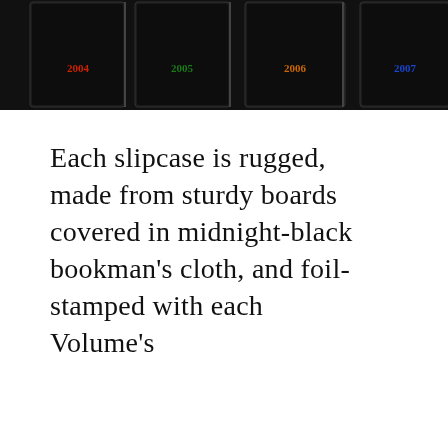[Figure (photo): Row of four midnight-black slipcases partially visible at the top of the page, each labeled with a year in colored text: 2004 in red, 2005 in green, 2006 in orange, 2007 in blue.]
Each slipcase is rugged, made from sturdy boards covered in midnight-black bookman's cloth, and foil-stamped with each Volume's